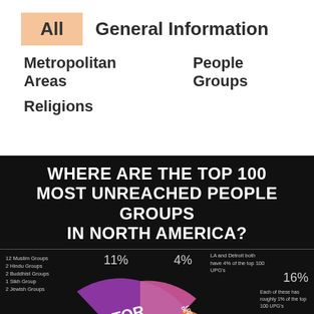[Figure (infographic): Navigation menu with orange 'All' box and menu items: General Information, Metropolitan Areas, People Groups, Religions]
[Figure (infographic): Dark infographic: WHERE ARE THE TOP 100 MOST UNREACHED PEOPLE GROUPS IN NORTH AMERICA? Pie chart showing Toronto (11%), Detroit/LA (4%), and 16 other cities (1% each). Labels: 12 Muslim Groups, 2 Hindu Groups, 2 Buddhist Groups, 1 Sikh Group, 2 Jewish Groups.]